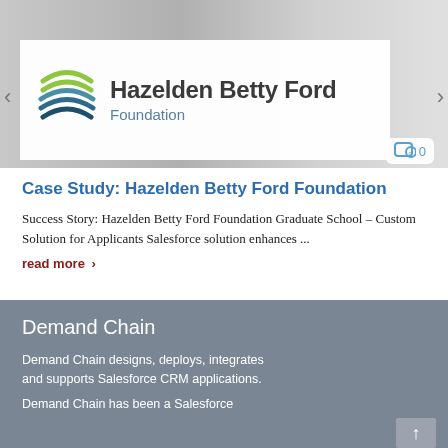[Figure (photo): Hero banner with blurred people walking in background and Hazelden Betty Ford Foundation logo overlaid on white box in foreground]
Case Study: Hazelden Betty Ford Foundation
Success Story: Hazelden Betty Ford Foundation Graduate School – Custom Solution for Applicants Salesforce solution enhances ...
read more ›
Demand Chain
Demand Chain designs, deploys, integrates and supports Salesforce CRM applications.
Demand Chain has been a Salesforce